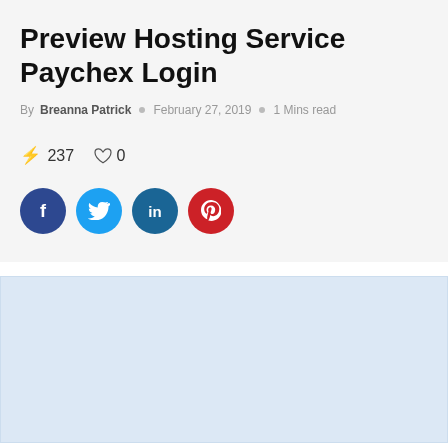Preview Hosting Service Paychex Login
By Breanna Patrick  ○  February 27, 2019  ○  1 Mins read
⚡ 237   ♡ 0
[Figure (infographic): Social share buttons: Facebook (f), Twitter (bird/t), LinkedIn (in), Pinterest (p)]
[Figure (other): Light blue empty content area / advertisement placeholder]